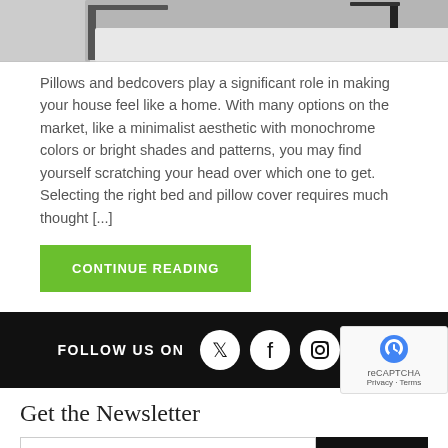[Figure (photo): Top portion of a bedroom/bed photo showing white bedding and furniture, cropped at top of page]
Pillows and bedcovers play a significant role in making your house feel like a home. With many options on the market, like a minimalist aesthetic with monochrome colors or bright shades and patterns, you may find yourself scratching your head over which one to get. Selecting the right bed and pillow cover requires much thought [...]
CONTINUE READING
FOLLOW US ON
[Figure (infographic): Social media icons row: Twitter, Facebook, Instagram, Pinterest on black background]
Get the Newsletter
Sign up for special promotions and updates
SUBSCRIBE